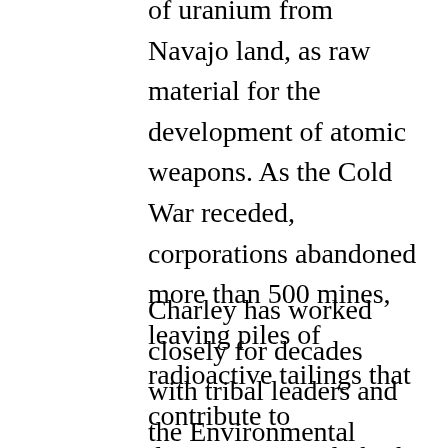of uranium from Navajo land, as raw material for the development of atomic weapons. As the Cold War receded, corporations abandoned more than 500 mines, leaving piles of radioactive tailings that contribute to disproportionately high rates of kidney failure and cancer within the tribe.
Charley has worked closely for decades with tribal leaders and the Environmental Protection Agency to study uranium's impact on Navajo lands. The mess is so dire that one company, Anadarko Petroleum along